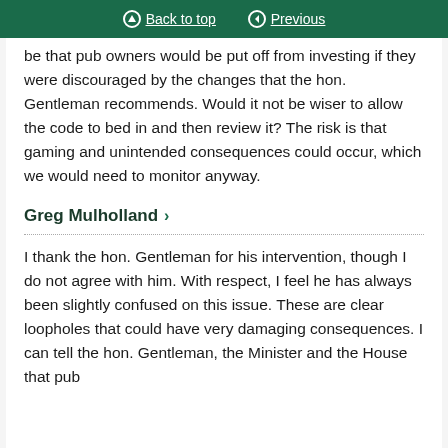Back to top | Previous
be that pub owners would be put off from investing if they were discouraged by the changes that the hon. Gentleman recommends. Would it not be wiser to allow the code to bed in and then review it? The risk is that gaming and unintended consequences could occur, which we would need to monitor anyway.
Greg Mulholland
I thank the hon. Gentleman for his intervention, though I do not agree with him. With respect, I feel he has always been slightly confused on this issue. These are clear loopholes that could have very damaging consequences. I can tell the hon. Gentleman, the Minister and the House that pub